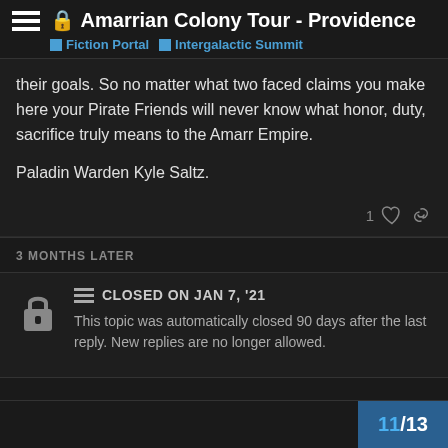Amarrian Colony Tour - Providence | Fiction Portal | Intergalactic Summit
their goals. So no matter what two faced claims you make here your Pirate Friends will never know what honor, duty, sacrifice truly means to the Amarr Empire.

Paladin Warden Kyle Saltz.
3 MONTHS LATER
CLOSED ON JAN 7, '21
This topic was automatically closed 90 days after the last reply. New replies are no longer allowed.
11 / 13